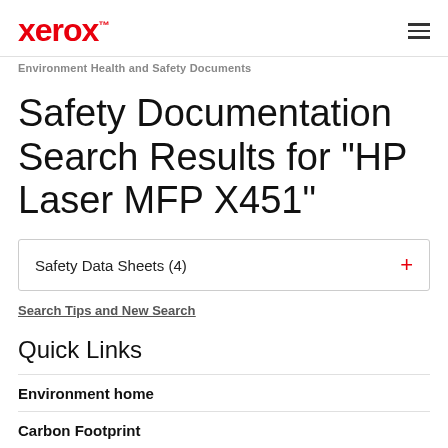xerox™
Environment Health and Safety Documents
Safety Documentation Search Results for "HP Laser MFP X451"
Safety Data Sheets (4)
Search Tips and New Search
Quick Links
Environment home
Carbon Footprint